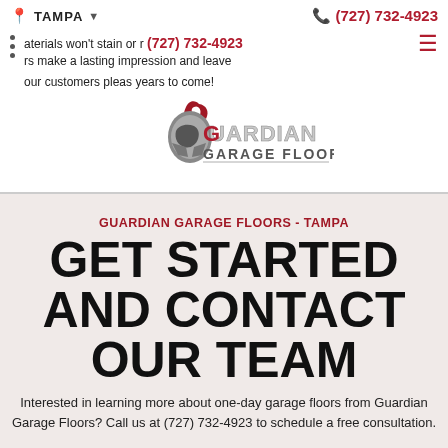TAMPA  (727) 732-4923
aterials won't stain or r...  rs make a lasting impression and leave our customers pleas... years to come!
[Figure (logo): Guardian Garage Floors logo with red and silver spartan helmet and text 'GUARDIAN GARAGE FLOORS']
GUARDIAN GARAGE FLOORS - TAMPA
GET STARTED AND CONTACT OUR TEAM
Interested in learning more about one-day garage floors from Guardian Garage Floors? Call us at (727) 732-4923 to schedule a free consultation.